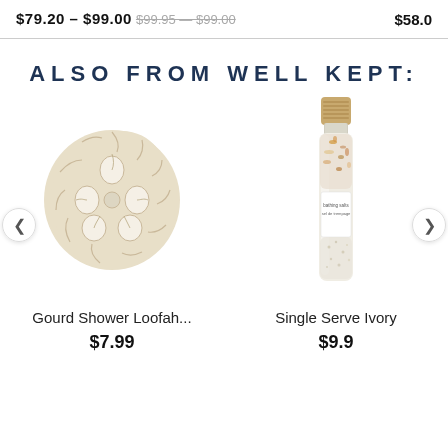$79.20 – $99.00 $99.95 – $99.00 $58.0
ALSO FROM WELL KEPT:
[Figure (photo): Round loofah sponge (gourd shower loofah) viewed from the front, showing natural fibrous texture with hollow center openings in a flower-like pattern]
Gourd Shower Loofah...
$7.99
[Figure (photo): Small glass test tube/vial with cork stopper containing bath salts and botanicals, with a white label reading 'bathing salts sel de trempage']
Single Serve Ivory
$9.9